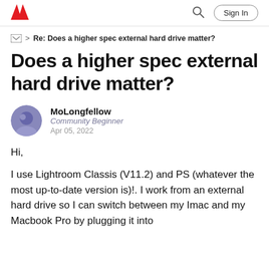Adobe | Sign In
> Re: Does a higher spec external hard drive matter?
Does a higher spec external hard drive matter?
MoLongfellow
Community Beginner
Apr 05, 2022
Hi,
I use Lightroom Classis (V11.2) and PS (whatever the most up-to-date version is)!.  I work from an external hard drive so I can switch between my Imac and my Macbook Pro by plugging it into